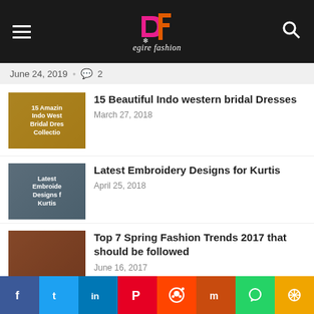Desire Fashion
June 24, 2019  •  2
15 Beautiful Indo western bridal Dresses
March 27, 2018
Latest Embroidery Designs for Kurtis
April 25, 2018
Top 7 Spring Fashion Trends 2017 that should be followed
June 16, 2017
7 Ways to Save Money this Promo
f  t  in  P  reddit  m  WhatsApp  share